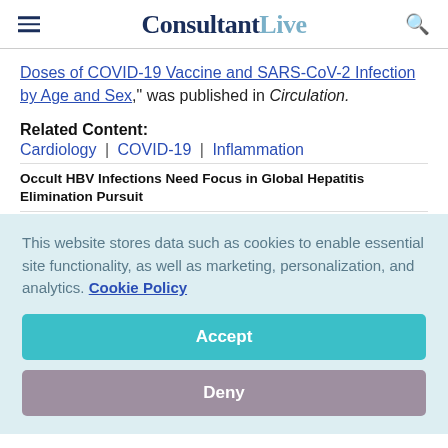ConsultantLive
Doses of COVID-19 Vaccine and SARS-CoV-2 Infection by Age and Sex," was published in Circulation.
Related Content:
Cardiology | COVID-19 | Inflammation
Occult HBV Infections Need Focus in Global Hepatitis Elimination Pursuit
This website stores data such as cookies to enable essential site functionality, as well as marketing, personalization, and analytics. Cookie Policy
Accept
Deny